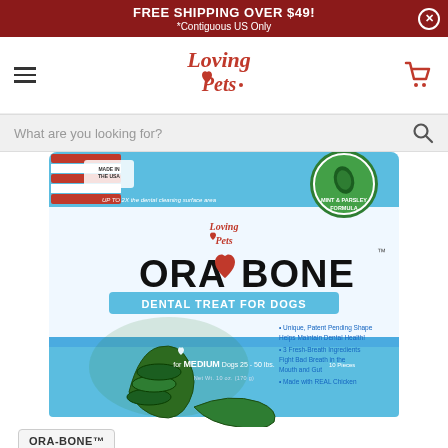FREE SHIPPING OVER $49! *Contiguous US Only
[Figure (logo): Loving Pets brand logo with heart and decorative lettering]
What are you looking for?
[Figure (photo): ORA-BONE Dental Treat for Dogs product package. Mint & Parsley Formula, Made in the USA, for Medium Dogs 25-50 lbs, 10 Pieces. Features unique patent pending bone shape, 3 fresh-breath ingredients, made with real chicken.]
ORA-BONE™